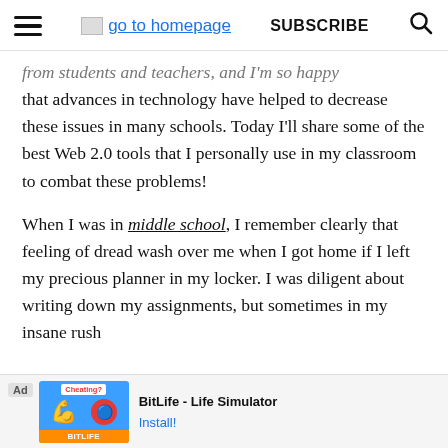go to homepage | SUBSCRIBE
from students and teachers, and I'm so happy that advances in technology have helped to decrease these issues in many schools. Today I'll share some of the best Web 2.0 tools that I personally use in my classroom to combat these problems!
When I was in middle school, I remember clearly that feeling of dread wash over me when I got home if I left my precious planner in my locker. I was diligent about writing down my assignments, but sometimes in my insane rush to no[t forget my] [...]
[Figure (screenshot): Advertisement banner for BitLife - Life Simulator app, showing Ad label, game logo with arm/muscle emoji and red circle logo, and Install button.]